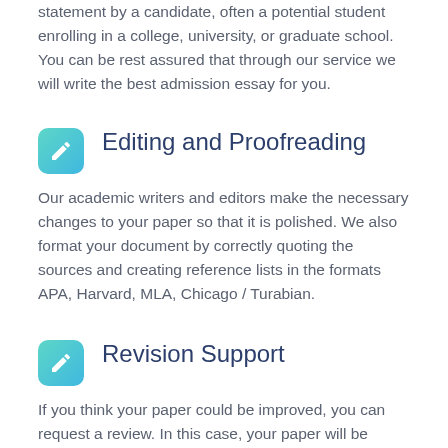statement by a candidate, often a potential student enrolling in a college, university, or graduate school. You can be rest assured that through our service we will write the best admission essay for you.
Editing and Proofreading
Our academic writers and editors make the necessary changes to your paper so that it is polished. We also format your document by correctly quoting the sources and creating reference lists in the formats APA, Harvard, MLA, Chicago / Turabian.
Revision Support
If you think your paper could be improved, you can request a review. In this case, your paper will be